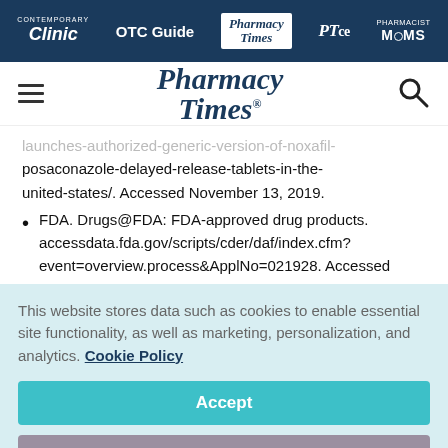Contemporary Clinic | OTC Guide | Pharmacy Times | PTce | Pharmacist Moms
[Figure (logo): Pharmacy Times logo with hamburger menu and search icon]
launches-authorized-generic-version-of-noxafil-posaconazole-delayed-release-tablets-in-the-united-states/. Accessed November 13, 2019.
FDA. Drugs@FDA: FDA-approved drug products. accessdata.fda.gov/scripts/cder/daf/index.cfm?event=overview.process&ApplNo=021928. Accessed
This website stores data such as cookies to enable essential site functionality, as well as marketing, personalization, and analytics. Cookie Policy
Accept
Deny